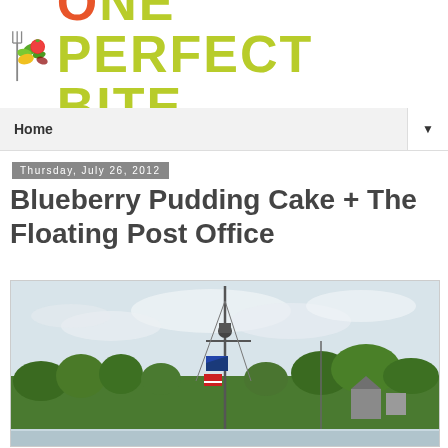[Figure (logo): One Perfect Bite food blog logo with fork and vegetables]
Home ▼
Thursday, July 26, 2012
Blueberry Pudding Cake + The Floating Post Office
[Figure (photo): Outdoor photo showing a tall mast with flags and rigging against a cloudy sky, with trees and buildings in the background — appears to be a floating post office boat/vessel]